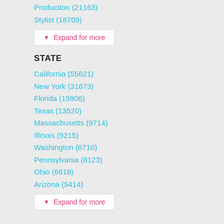Production (21163)
Stylist (18709)
▼ Expand for more
STATE
California (55621)
New York (31673)
Florida (19806)
Texas (13520)
Massachusetts (9714)
Illinois (9215)
Washington (8710)
Pennsylvania (8123)
Ohio (6618)
Arizona (5414)
▼ Expand for more